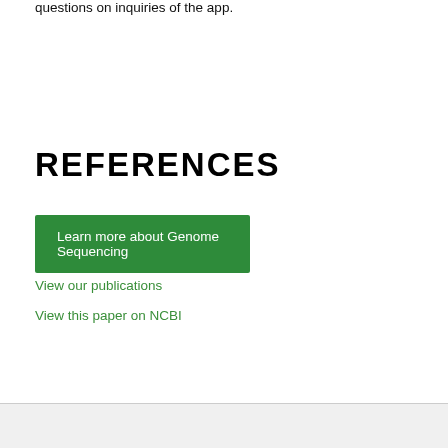questions on inquiries of the app.
REFERENCES
Learn more about Genome Sequencing
View our publications
View this paper on NCBI